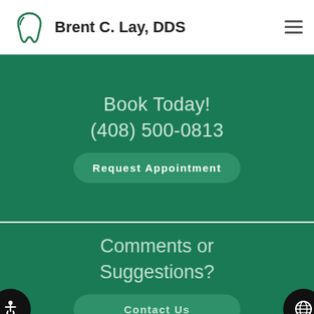Brent C. Lay, DDS
Book Today!
(408) 500-0813
Request Appointment
Comments or Suggestions?
Contact Us